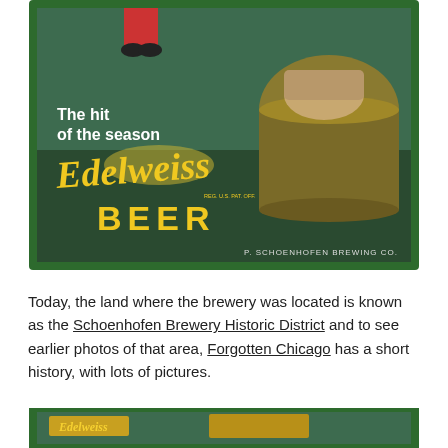[Figure (illustration): Vintage Edelweiss Beer advertisement by P. Schoenhofen Brewing Co. Shows 'The hit of the season' text with stylized yellow Edelweiss script logo and BEER in bold yellow letters on a dark green background. Figures visible at top including a person and a large pot/barrel.]
Today, the land where the brewery was located is known as the Schoenhofen Brewery Historic District and to see earlier photos of that area, Forgotten Chicago has a short history, with lots of pictures.
[Figure (photo): Bottom portion of another vintage Edelweiss Beer advertisement, partially cropped, showing green border and yellow/gold design elements.]